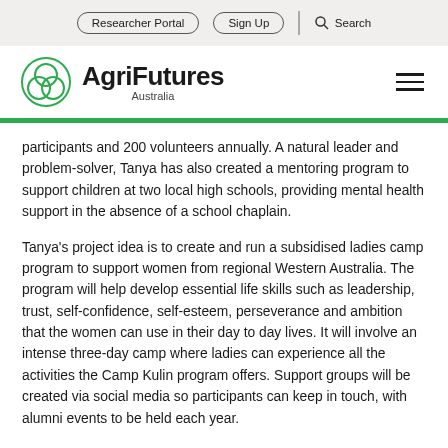Researcher Portal | Sign Up | Search
[Figure (logo): AgriFutures Australia logo with green circular emblem and bold black text]
participants and 200 volunteers annually. A natural leader and problem-solver, Tanya has also created a mentoring program to support children at two local high schools, providing mental health support in the absence of a school chaplain.
Tanya's project idea is to create and run a subsidised ladies camp program to support women from regional Western Australia. The program will help develop essential life skills such as leadership, trust, self-confidence, self-esteem, perseverance and ambition that the women can use in their day to day lives. It will involve an intense three-day camp where ladies can experience all the activities the Camp Kulin program offers. Support groups will be created via social media so participants can keep in touch, with alumni events to be held each year.